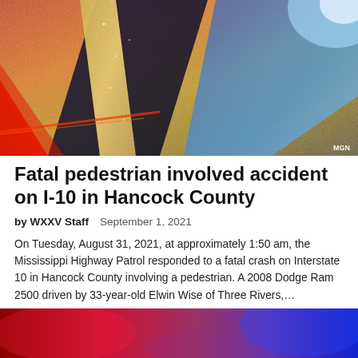[Figure (photo): Abstract photo of glittering colored light streaks — red, gold, dark blue, and bright blue — resembling bokeh or emergency vehicle lights. MGN watermark in bottom right corner.]
Fatal pedestrian involved accident on I-10 in Hancock County
by WXXV Staff   September 1, 2021
On Tuesday, August 31, 2021, at approximately 1:50 am, the Mississippi Highway Patrol responded to a fatal crash on Interstate 10 in Hancock County involving a pedestrian. A 2008 Dodge Ram 2500 driven by 33-year-old Elwin Wise of Three Rivers,…
[Figure (photo): Partial photo showing red and blue bokeh light colors, likely emergency lights, cut off at the bottom of the page.]